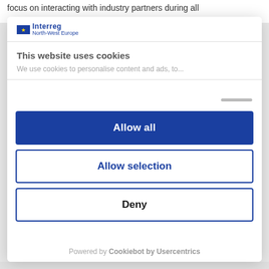focus on interacting with industry partners during all
[Figure (logo): Interreg North-West Europe logo with EU flag stars emblem]
This website uses cookies
We use cookies to personalise content and ads, to...
Allow all
Allow selection
Deny
Powered by Cookiebot by Usercentrics